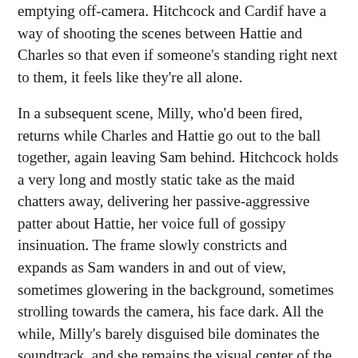emptying off-camera. Hitchcock and Cardif have a way of shooting the scenes between Hattie and Charles so that even if someone's standing right next to them, it feels like they're all alone.
In a subsequent scene, Milly, who'd been fired, returns while Charles and Hattie go out to the ball together, again leaving Sam behind. Hitchcock holds a very long and mostly static take as the maid chatters away, delivering her passive-aggressive patter about Hattie, her voice full of gossipy insinuation. The frame slowly constricts and expands as Sam wanders in and out of view, sometimes glowering in the background, sometimes strolling towards the camera, his face dark. All the while, Milly's barely disguised bile dominates the soundtrack, and she remains the visual center of the shot, but it's Sam's darkening expression and stalking walk that actually serve as the scene's viscerally felt focus even when he's peripheral or outside the frame altogether. Only at the very end of the scene, the end of the shot, does Sam finally step forward into the foreground of the frame, and Milly's voice fades away, his anger finally blotting out her words.